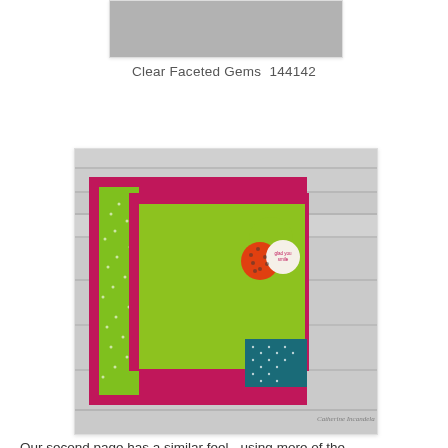[Figure (photo): Top portion of a product photo showing a gray/silver item (Clear Faceted Gems)]
Clear Faceted Gems  144142
[Figure (photo): A craft scrapbook layout page with colorful paper layers — hot pink/magenta, lime green, teal/dark blue-green — arranged on a wood background. Decorative circle embellishments in the upper right area with text. A watermark reads 'Catherine Incandela'.]
Our second page has a similar feel - using more of the